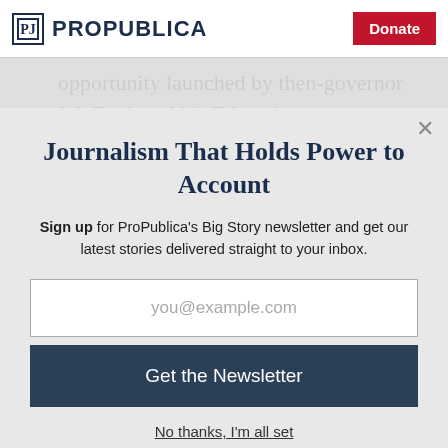ProPublica | Donate
opportunity launched by then-governor Jeb Bush and his Education
Journalism That Holds Power to Account
Sign up for ProPublica's Big Story newsletter and get our latest stories delivered straight to your inbox.
you@example.com
Get the Newsletter
No thanks, I'm all set
This site is protected by reCAPTCHA and the Google Privacy Policy and Terms of Service apply.